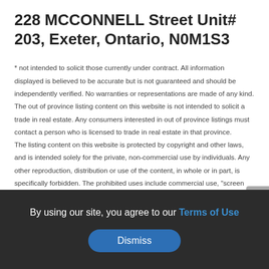228 MCCONNELL Street Unit# 203, Exeter, Ontario, N0M1S3
* not intended to solicit those currently under contract. All information displayed is believed to be accurate but is not guaranteed and should be independently verified. No warranties or representations are made of any kind.
The out of province listing content on this website is not intended to solicit a trade in real estate. Any consumers interested in out of province listings must contact a person who is licensed to trade in real estate in that province.
The listing content on this website is protected by copyright and other laws, and is intended solely for the private, non-commercial use by individuals. Any other reproduction, distribution or use of the content, in whole or in part, is specifically forbidden. The prohibited uses include commercial use, "screen scraping".
By using our site, you agree to our Terms of Use
Dismiss